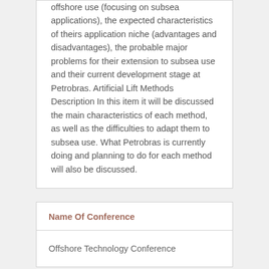offshore use (focusing on subsea applications), the expected characteristics of theirs application niche (advantages and disadvantages), the probable major problems for their extension to subsea use and their current development stage at Petrobras. Artificial Lift Methods Description In this item it will be discussed the main characteristics of each method, as well as the difficulties to adapt them to subsea use. What Petrobras is currently doing and planning to do for each method will also be discussed.
Name Of Conference
Offshore Technology Conference